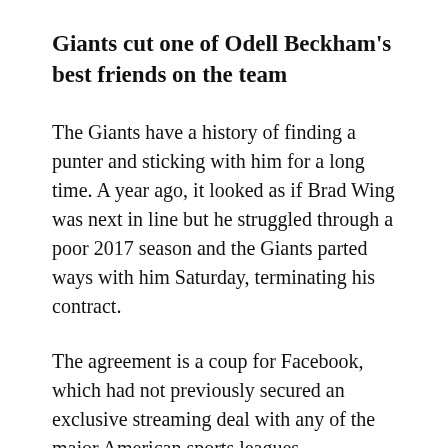Giants cut one of Odell Beckham's best friends on the team
The Giants have a history of finding a punter and sticking with him for a long time. A year ago, it looked as if Brad Wing was next in line but he struggled through a poor 2017 season and the Giants parted ways with him Saturday, terminating his contract.
The agreement is a coup for Facebook, which had not previously secured an exclusive streaming deal with any of the major American sports leagues.
It is also the latest instance of Silicon Valley's